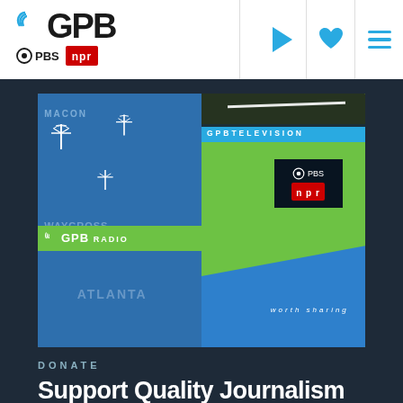[Figure (logo): GPB logo with PBS and NPR sub-logos in white header navigation bar]
[Figure (photo): GPB exhibit booth showing GPB Radio and GPB Television branded display walls with tower icons, Georgia state shape in blue, green walls, orange background with radio station frequencies, and a TV screen showing PBS and NPR logos with 'worth sharing' tagline]
DONATE
Support Quality Journalism